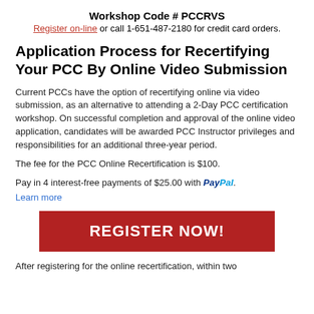Workshop Code # PCCRVS
Register on-line or call 1-651-487-2180 for credit card orders.
Application Process for Recertifying Your PCC By Online Video Submission
Current PCCs have the option of recertifying online via video submission, as an alternative to attending a 2-Day PCC certification workshop. On successful completion and approval of the online video application, candidates will be awarded PCC Instructor privileges and responsibilities for an additional three-year period.
The fee for the PCC Online Recertification is $100.
Pay in 4 interest-free payments of $25.00 with PayPal.
Learn more
[Figure (other): Red REGISTER NOW! button]
After registering for the online recertification, within two